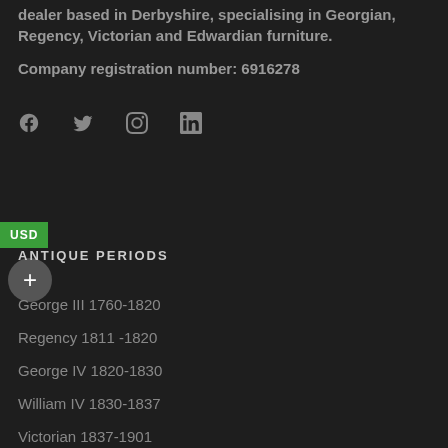dealer based in Derbyshire, specialising in Georgian, Regency, Victorian and Edwardian furniture.
Company registration number: 6916278
[Figure (other): Social media icons: Facebook, Twitter, Instagram, LinkedIn]
USD
ANTIQUE PERIODS
George III 1760-1820
Regency 1811 -1820
George IV 1820-1830
William IV 1830-1837
Victorian 1837-1901